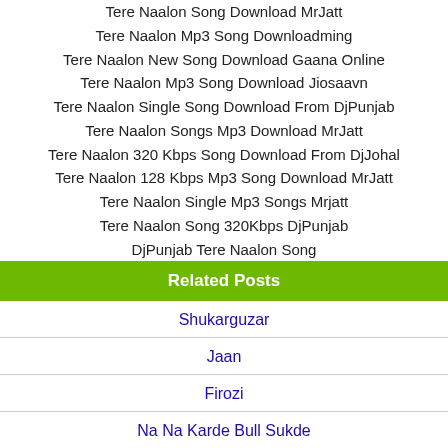Tere Naalon Song Download MrJatt
Tere Naalon Mp3 Song Downloadming
Tere Naalon New Song Download Gaana Online
Tere Naalon Mp3 Song Download Jiosaavn
Tere Naalon Single Song Download From DjPunjab
Tere Naalon Songs Mp3 Download MrJatt
Tere Naalon 320 Kbps Song Download From DjJohal
Tere Naalon 128 Kbps Mp3 Song Download MrJatt
Tere Naalon Single Mp3 Songs Mrjatt
Tere Naalon Song 320Kbps DjPunjab
DjPunjab Tere Naalon Song
Related Posts
Shukarguzar
Jaan
Firozi
Na Na Karde Bull Sukde